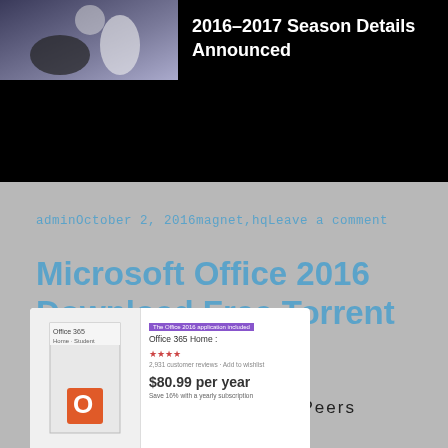[Figure (screenshot): Top banner with a performance/theater image on the left and white text '2016-2017 Season Details Announced' on a black background]
adminOctober 2, 2016magnet,hqLeave a comment
Microsoft Office 2016 Download Free Torrent
Health
25 Seeds   42 Peers
[Figure (screenshot): Product card showing Microsoft Office 365 Home box image with price $80.99 per year and star rating]